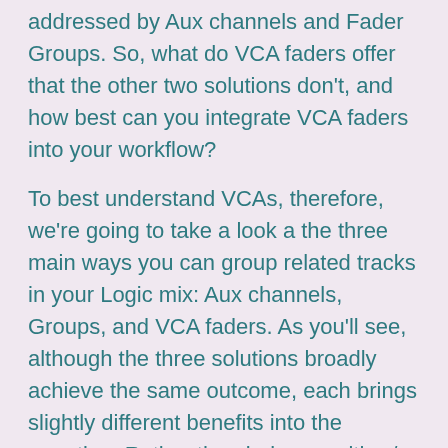addressed by Aux channels and Fader Groups. So, what do VCA faders offer that the other two solutions don't, and how best can you integrate VCA faders into your workflow?
To best understand VCAs, therefore, we're going to take a look a the three main ways you can group related tracks in your Logic mix: Aux channels, Groups, and VCA faders. As you'll see, although the three solutions broadly achieve the same outcome, each brings slightly different benefits into the equation. Rather than being an either/or solution, the right combinations of all three solutions are essential to creating a professional mix, especially when you're dealing with large track counts.